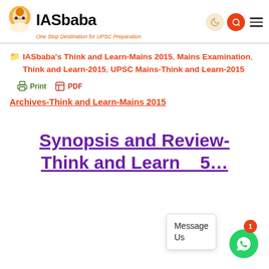IASbaba — One Stop Destination for UPSC Preparation
IASbaba's Think and Learn-Mains 2015, Mains Examination, Think and Learn-2015, UPSC Mains-Think and Learn-2015
Print  PDF
Archives-Think and Learn-Mains 2015
Synopsis and Review-Think and Learn 5…